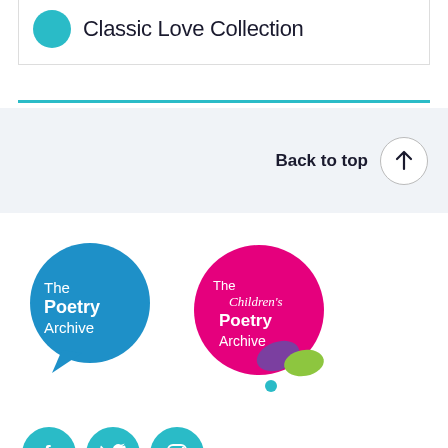Classic Love Collection
Back to top
[Figure (logo): The Poetry Archive speech bubble logo in blue]
[Figure (logo): The Children's Poetry Archive circular logo in magenta/pink with colorful dots]
[Figure (illustration): Social media icons: Facebook, Twitter, Instagram in teal circles]
QUICK LINKS